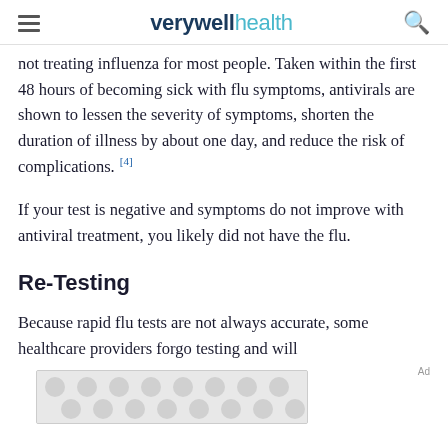verywell health
not treating influenza for most people. Taken within the first 48 hours of becoming sick with flu symptoms, antivirals are shown to lessen the severity of symptoms, shorten the duration of illness by about one day, and reduce the risk of complications. [4]
If your test is negative and symptoms do not improve with antiviral treatment, you likely did not have the flu.
Re-Testing
Because rapid flu tests are not always accurate, some healthcare providers forgo testing and will
[Figure (other): Advertisement banner placeholder with grey dot pattern]